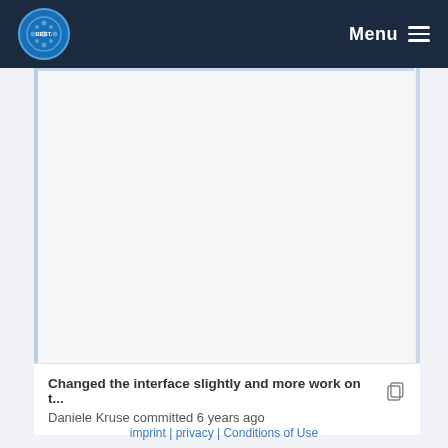BEST. | Menu
Changed the interface slightly and more work on t... Daniele Kruse committed 6 years ago
imprint | privacy | Conditions of Use